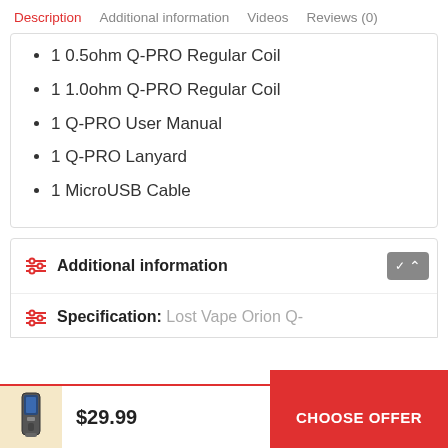Description  Additional information  Videos  Reviews (0)
1 0.5ohm Q-PRO Regular Coil
1 1.0ohm Q-PRO Regular Coil
1 Q-PRO User Manual
1 Q-PRO Lanyard
1 MicroUSB Cable
Additional information
Specification: Lost Vape Orion Q-
$29.99
CHOOSE OFFER